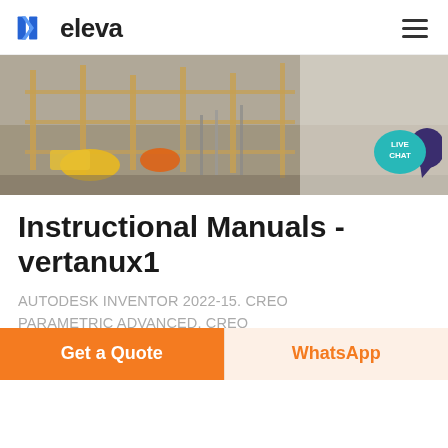eleva
[Figure (photo): Aerial or overhead photo of a construction site with scaffolding, machinery, and workers visible. Orange and yellow equipment visible.]
Instructional Manuals - vertanux1
AUTODESK INVENTOR 2022-15. CREO PARAMETRIC ADVANCED. CREO PARAMETRIC BASICS. SOLIDWORKS ADVANCED 2022. AUTODESK INVENTOR
Get a Quote | WhatsApp